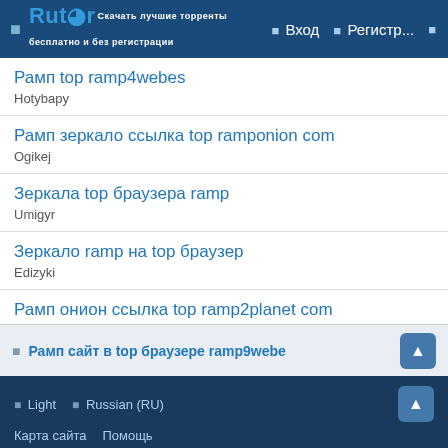Rutor — Вход — Регистр...
Рамп top ramp4webes
Hotybapy
Рамп зеркало ссылка top ramponion com
Ogikej
Зеркала top браузера ramp
Umigyr
Зеркало ramp на top браузер
Edizyki
Рамп онион ссылка top ramp2planet com
Milisifa
Рамп сайт в top браузере ramp9webe
Light   Russian (RU)   Карта сайта   Помощь